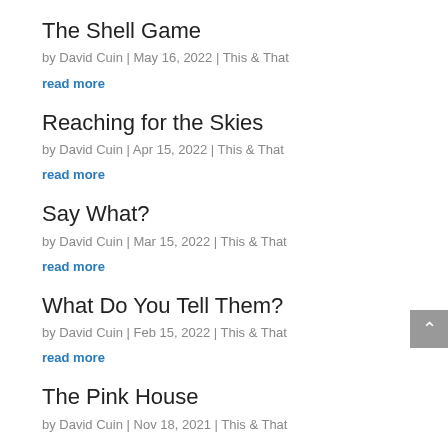The Shell Game
by David Cuin | May 16, 2022 | This & That
read more
Reaching for the Skies
by David Cuin | Apr 15, 2022 | This & That
read more
Say What?
by David Cuin | Mar 15, 2022 | This & That
read more
What Do You Tell Them?
by David Cuin | Feb 15, 2022 | This & That
read more
The Pink House
by David Cuin | Nov 18, 2021 | This & That